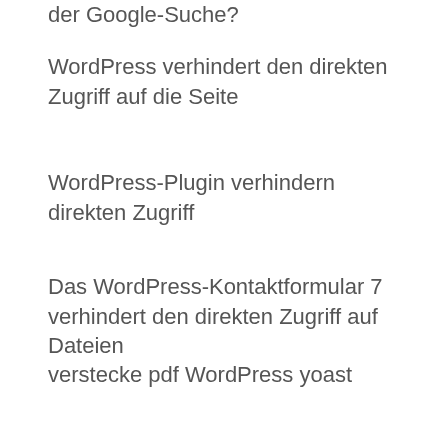der Google-Suche?
WordPress verhindert den direkten Zugriff auf die Seite
WordPress-Plugin verhindern direkten Zugriff
Das WordPress-Kontaktformular 7 verhindert den direkten Zugriff auf Dateien
verstecke pdf WordPress yoast
WordPress PDF Print Pro versteckt eingebettete Videos